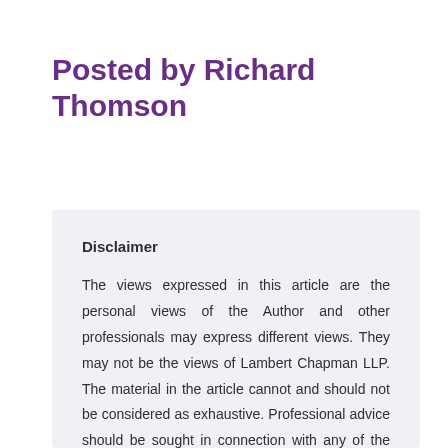Posted by Richard Thomson
Disclaimer
The views expressed in this article are the personal views of the Author and other professionals may express different views. They may not be the views of Lambert Chapman LLP. The material in the article cannot and should not be considered as exhaustive. Professional advice should be sought in connection with any of the issues